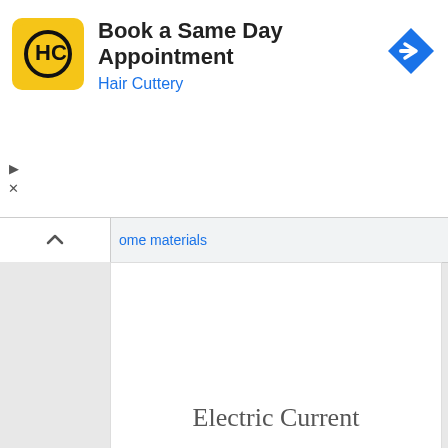[Figure (screenshot): Hair Cuttery advertisement banner with yellow logo, 'Book a Same Day Appointment' title, 'Hair Cuttery' subtitle in blue, and a blue navigation arrow icon on the right]
some materials
Electric Current
Electric Current Current Electricity Current Electricity is the